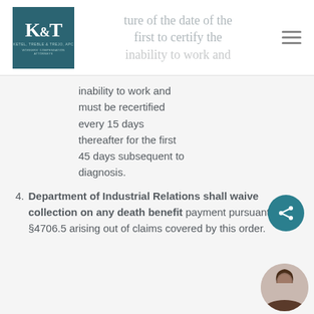[Figure (logo): K&T law firm logo — teal square with stylized K&T letters in white serif font, firm name below]
ture of the date of the first to certify the inability to work and must be recertified every 15 days thereafter for the first 45 days subsequent to diagnosis.
4. Department of Industrial Relations shall waive collection on any death benefit payment pursuant to LC §4706.5 arising out of claims covered by this order.